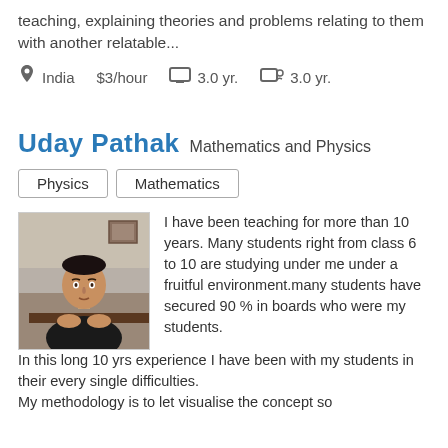teaching, explaining theories and problems relating to them with another relatable...
India  $3/hour  3.0 yr.  3.0 yr.
Uday Pathak  Mathematics and Physics
Physics
Mathematics
[Figure (photo): Profile photo of Uday Pathak, a middle-aged man sitting at a desk in a dark shirt, in an office/classroom setting.]
I have been teaching for more than 10 years. Many students right from class 6 to 10 are studying under me under a fruitful environment.many students have secured 90 % in boards who were my students. In this long 10 yrs experience I have been with my students in their every single difficulties.
My methodology is to let visualise the concept so